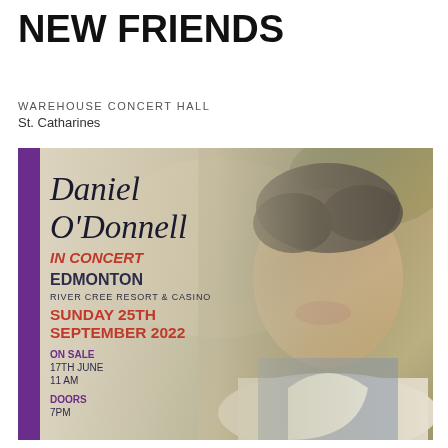NEW FRIENDS
WAREHOUSE CONCERT HALL
St. Catharines
[Figure (photo): Concert poster for Daniel O'Donnell In Concert at Edmonton River Cree Resort & Casino, Sunday 25th September 2022. Features a photo of Daniel O'Donnell smiling, with a purple left stripe, script lettering for his name, and event details including on sale date (17th June, 11 AM) and doors (7PM).]